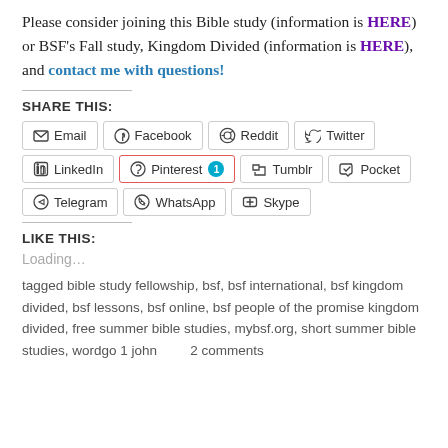Please consider joining this Bible study (information is HERE) or BSF's Fall study, Kingdom Divided (information is HERE), and contact me with questions!
SHARE THIS:
[Figure (other): Row of social sharing buttons: Email, Facebook, Reddit, Twitter, Print, LinkedIn, Pinterest (1), Tumblr, Pocket, Telegram, WhatsApp, Skype]
LIKE THIS:
Loading...
tagged bible study fellowship, bsf, bsf international, bsf kingdom divided, bsf lessons, bsf online, bsf people of the promise kingdom divided, free summer bible studies, mybsf.org, short summer bible studies, wordgo 1 john     2 comments